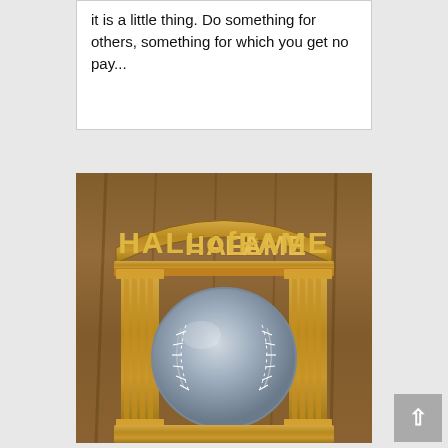it is a little thing. Do something for others, something for which you get no pay...
[Figure (photo): A close-up photo of a golden Hall of Fame baseball trophy/pin featuring the text 'HALL of FAME' in relief lettering with pillars on each side and a silver baseball in the center, set against a wooden background.]